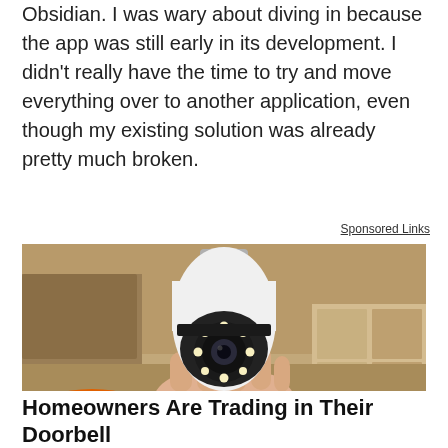Obsidian. I was wary about diving in because the app was still early in its development. I didn't really have the time to try and move everything over to another application, even though my existing solution was already pretty much broken.
Sponsored Links
[Figure (photo): A hand holding a white security camera shaped like a light bulb with a screw base at the top. The camera has a round lens with LED lights arranged in a circle. Background shows cardboard boxes in a warehouse or storage setting. Person is wearing an orange glove/sleeve.]
Homeowners Are Trading in Their Doorbell